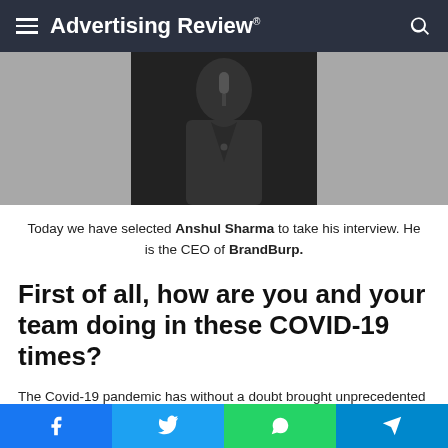Advertising Review®
[Figure (photo): Black and white photo of a person in a dark suit, partially visible, upper body, against a grey background]
Today we have selected Anshul Sharma to take his interview. He is the CEO of BrandBurp.
First of all, how are you and your team doing in these COVID-19 times?
The Covid-19 pandemic has without a doubt brought unprecedented changes in each one of our lives. Everything
Facebook Twitter WhatsApp Telegram